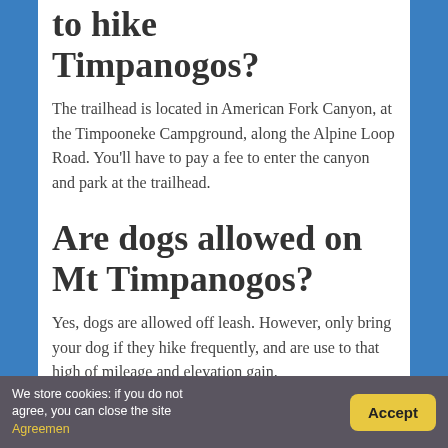to hike Timpanogos?
The trailhead is located in American Fork Canyon, at the Timpooneke Campground, along the Alpine Loop Road. You'll have to pay a fee to enter the canyon and park at the trailhead.
Are dogs allowed on Mt Timpanogos?
Yes, dogs are allowed off leash. However, only bring your dog if they hike frequently, and are use to that high of mileage and elevation gain.
We store cookies: if you do not agree, you can close the site Agreement